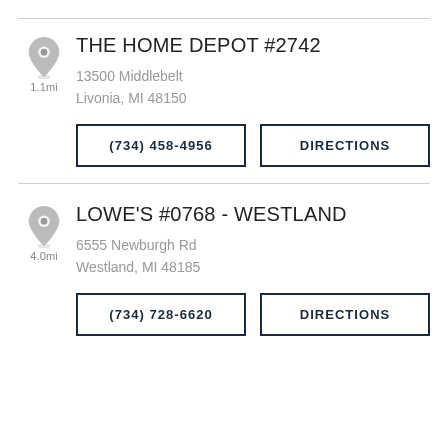[Figure (illustration): Gray map pin icon for The Home Depot location]
1.1mi
THE HOME DEPOT #2742
13500 Middlebelt
Livonia, MI 48150
(734) 458-4956
DIRECTIONS
[Figure (illustration): Gray map pin icon for Lowe's location]
4.0mi
LOWE'S #0768 - WESTLAND
6555 Newburgh Rd
Westland, MI 48185
(734) 728-6620
DIRECTIONS